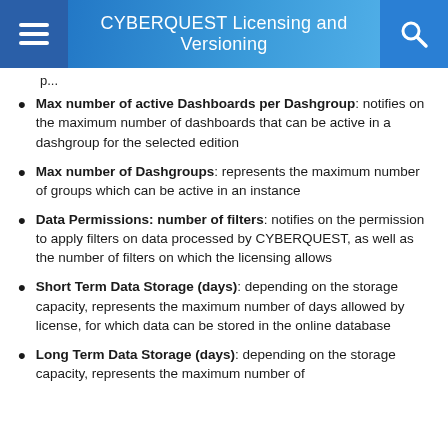CYBERQUEST Licensing and Versioning
Max number of active Dashboards per Dashgroup: notifies on the maximum number of dashboards that can be active in a dashgroup for the selected edition
Max number of Dashgroups: represents the maximum number of groups which can be active in an instance
Data Permissions: number of filters: notifies on the permission to apply filters on data processed by CYBERQUEST, as well as the number of filters on which the licensing allows
Short Term Data Storage (days): depending on the storage capacity, represents the maximum number of days allowed by license, for which data can be stored in the online database
Long Term Data Storage (days): depending on the storage capacity, represents the maximum number of